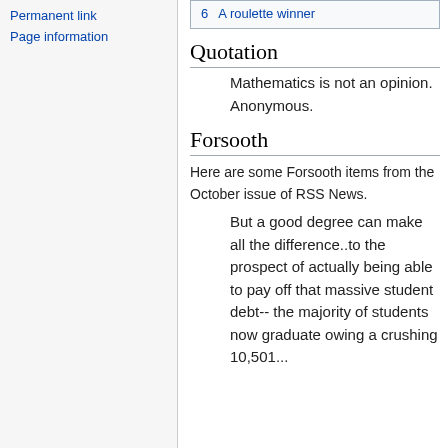Permanent link
Page information
6  A roulette winner
Quotation
Mathematics is not an opinion.
Anonymous.
Forsooth
Here are some Forsooth items from the October issue of RSS News.
But a good degree can make all the difference..to the prospect of actually being able to pay off that massive student debt-- the majority of students now graduate owing a crushing 10,501...